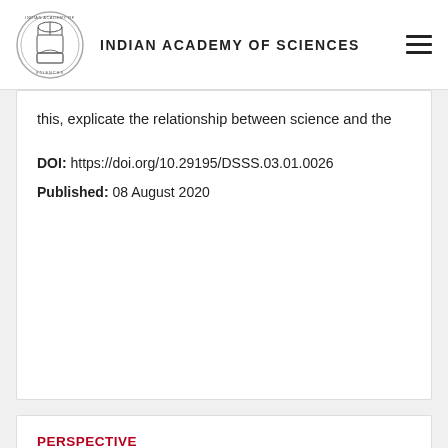INDIAN ACADEMY OF SCIENCES
this, explicate the relationship between science and the
DOI: https://doi.org/10.29195/DSSS.03.01.0026
Published: 08 August 2020
PERSPECTIVE
COVID-19: Questioning Public Healthcare Systems and Scientific approaches
Dipjyoti Das, Raghunath Chelakkot, Dibyendu Das,